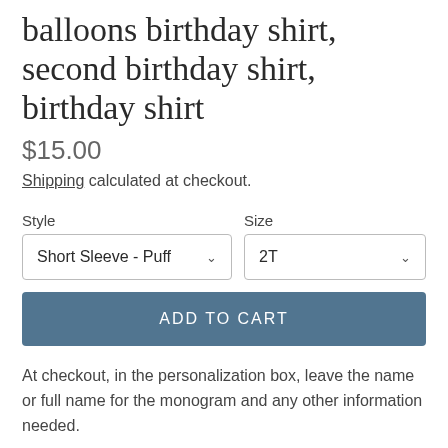balloons birthday shirt, second birthday shirt, birthday shirt
$15.00
Shipping calculated at checkout.
Style  Short Sleeve - Puff ∨   Size  2T ∨
ADD TO CART
At checkout, in the personalization box, leave the name or full name for the monogram and any other information needed.
—>Process: